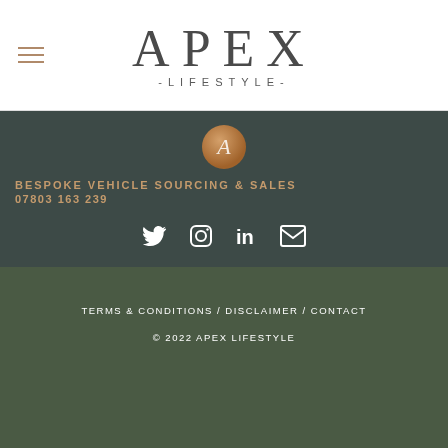[Figure (logo): Apex Lifestyle logo with large APEX text and -LIFESTYLE- subtitle, with hamburger menu icon on the left]
BESPOKE VEHICLE SOURCING & SALES
07803 163 239
[Figure (infographic): Social media icons: Twitter, Instagram, LinkedIn, Email in white on dark background]
TERMS & CONDITIONS / DISCLAIMER / CONTACT
© 2022 APEX LIFESTYLE